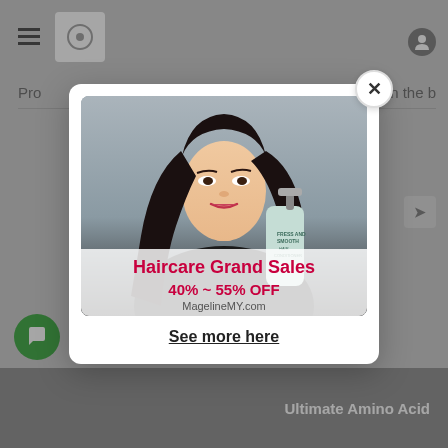[Figure (screenshot): Website background partially visible behind a modal popup showing a haircare advertisement. The background shows a website header with hamburger menu, logo, and navigation, plus bottom bar with 'Ultimate Amino Acid' text.]
[Figure (photo): Modal popup containing a promotional image of an Asian woman with long black hair holding a hair product bottle (conditioner/shampoo). Overlay text on image reads 'Haircare Grand Sales 40% ~ 55% OFF' and 'MagelineMY.com'. Below image is a 'See more here' underlined link.]
Haircare Grand Sales
40% ~ 55% OFF
MagelineMY.com
See more here